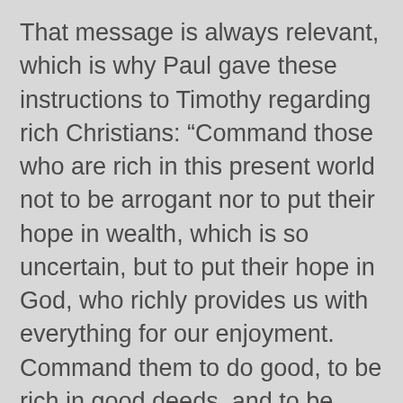That message is always relevant, which is why Paul gave these instructions to Timothy regarding rich Christians: “Command those who are rich in this present world not to be arrogant nor to put their hope in wealth, which is so uncertain, but to put their hope in God, who richly provides us with everything for our enjoyment. Command them to do good, to be rich in good deeds, and to be generous and willing to share. In this way they will lay up treasure for themselves as a firm foundation for the coming age, so that they may take hold of the life that is truly life” (1 Timothy 6:17-18).